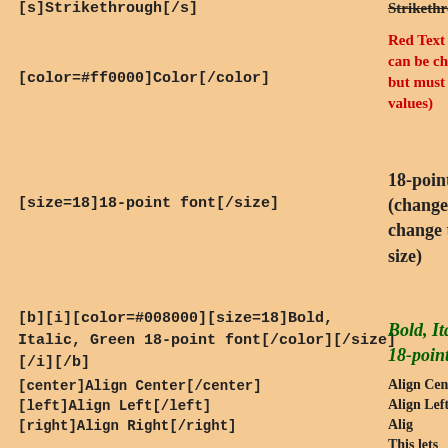[s]Strikethrough[/s]
Strikethrough
[color=#ff0000]Color[/color]
Red Text (other colors can be chosen as well, but must be 6-digit hex values)
[size=18]18-point font[/size]
18-point font (change the # to change the font size)
[b][i][color=#008000][size=18]Bold, Italic, Green 18-point font[/color][/size][/i][/b]
Bold, Italic, Green 18-point font
[center]Align Center[/center]
Align Center
[left]Align Left[/left]
Align Left
[right]Align Right[/right]
Align Right
This lets you quote text